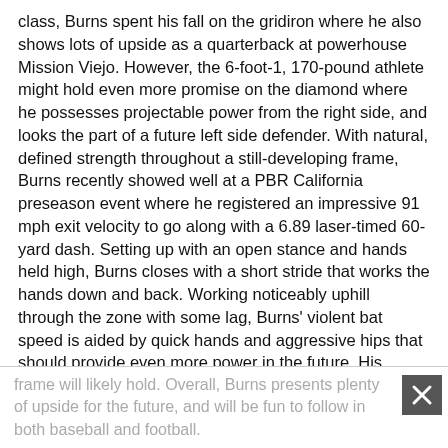class, Burns spent his fall on the gridiron where he also shows lots of upside as a quarterback at powerhouse Mission Viejo. However, the 6-foot-1, 170-pound athlete might hold even more promise on the diamond where he possesses projectable power from the right side, and looks the part of a future left side defender. With natural, defined strength throughout a still-developing frame, Burns recently showed well at a PBR California preseason event where he registered an impressive 91 mph exit velocity to go along with a 6.89 laser-timed 60-yard dash. Setting up with an open stance and hands held high, Burns closes with a short stride that works the hands down and back. Working noticeably uphill through the zone with some lag, Burns' violent bat speed is aided by quick hands and aggressive hips that should provide even more power in the future. His strong arm is quick and accurate, and he will likely stick on the left side with third base being the likely destination given the physicality and power that his
frame will likely hold. Overall, Burns presents plenty of upside for the future, and will be fun to follow in both baseball and football.